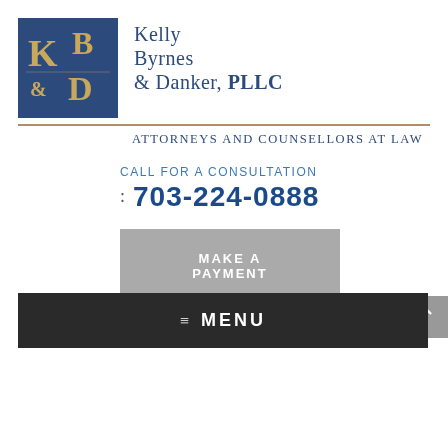[Figure (logo): Kelly Byrnes & Danker PLLC law firm logo — blue square with gold KB&D monogram letters]
Kelly Byrnes & Danker, PLLC
Attorneys and Counsellors at Law
CALL FOR A CONSULTATION
: 703-224-0888
MAKE A PAYMENT
≡ MENU